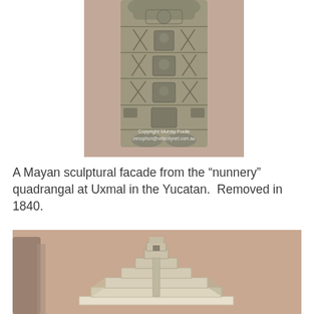[Figure (photo): Photograph of a Mayan sculptural facade — a tall carved stone column/stele densely covered in relief carvings of figures and glyphs, displayed indoors against a pinkish-mauve wall background. Watermark reads: Copyright Murray Foote / zenophon@velocitynet.com.au]
A Mayan sculptural facade from the “nunnery” quadrangal at Uxmal in the Yucatan.  Removed in 1840.
[Figure (photo): Photograph of a scale model or relief of a stepped Mayan pyramid (resembling El Castillo / Chichen Itza) against a pinkish-mauve wall background, partially cropped at bottom.]